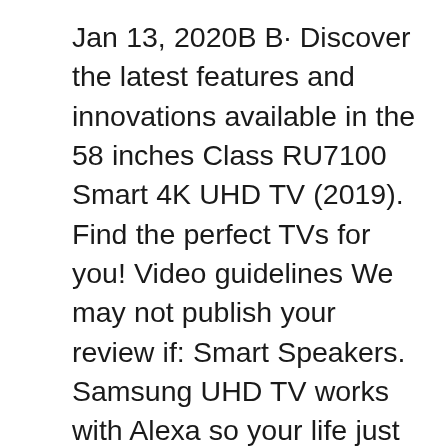Jan 13, 2020В В· Discover the latest features and innovations available in the 58 inches Class RU7100 Smart 4K UHD TV (2019). Find the perfect TVs for you! Video guidelines We may not publish your review if: Smart Speakers. Samsung UHD TV works with Alexa so your life just got simpler. ItвЂ™s easy to connect your Alexa-enabled devices. Samsung Series 6 MU6100 (4K Ultra HD TV): 4.4 out of 5 stars from 265 genuine reviews on Australia's largest opinion site ProductReview.com.au. Samsung Smart TV is brilliant. Quality picture with great clarity. Thank you for your review. Our consumers are at the core of our commitment to create a better world